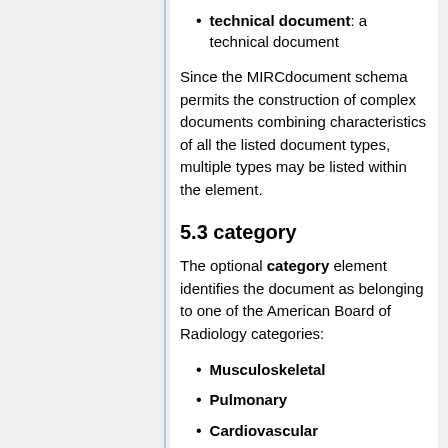technical document: a technical document
Since the MIRCdocument schema permits the construction of complex documents combining characteristics of all the listed document types, multiple types may be listed within the element.
5.3 category
The optional category element identifies the document as belonging to one of the American Board of Radiology categories:
Musculoskeletal
Pulmonary
Cardiovascular
Gastrointestinal
Genitourinary
Neuro
Vascular and Interventional